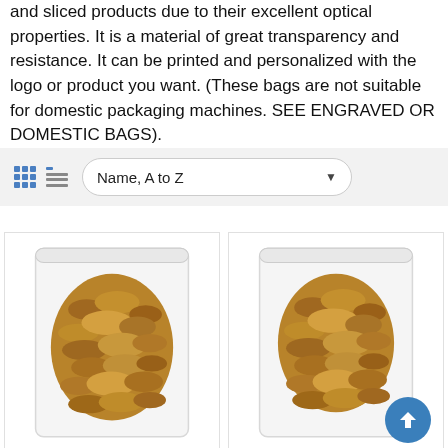and sliced products due to their excellent optical properties. It is a material of great transparency and resistance. It can be printed and personalized with the logo or product you want. (These bags are not suitable for domestic packaging machines. SEE ENGRAVED OR DOMESTIC BAGS).
[Figure (screenshot): Toolbar with grid view icon, list view icon, and a dropdown selector showing 'Name, A to Z']
[Figure (photo): Two product cards showing vacuum-sealed bags of nuts/pecans displayed side by side]